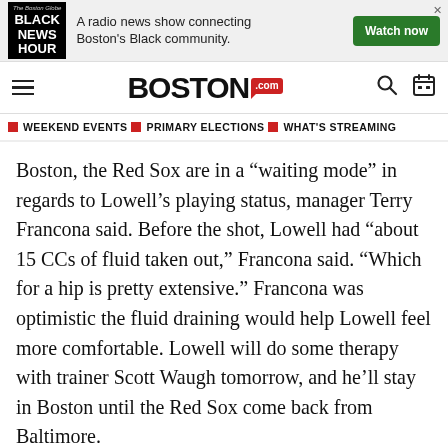[Figure (screenshot): Advertisement banner for Black News Hour — a radio news show connecting Boston's Black community, with a green Watch now button]
BOSTON.com
WEEKEND EVENTS  PRIMARY ELECTIONS  WHAT'S STREAMING
Boston, the Red Sox are in a “waiting mode” in regards to Lowell’s playing status, manager Terry Francona said. Before the shot, Lowell had “about 15 CCs of fluid taken out,” Francona said. “Which for a hip is pretty extensive.” Francona was optimistic the fluid draining would help Lowell feel more comfortable. Lowell will do some therapy with trainer Scott Waugh tomorrow, and he’ll stay in Boston until the Red Sox come back from Baltimore.